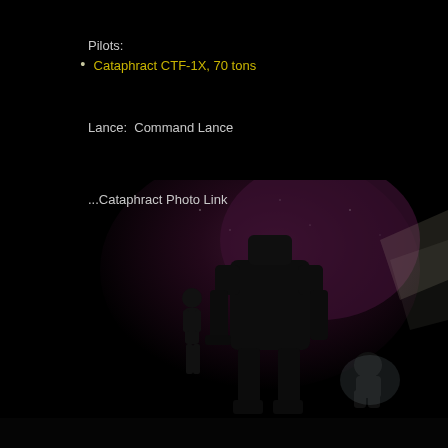Pilots:
Cataphract CTF-1X, 70 tons
Lance:  Command Lance
...Cataphract Photo Link
[Figure (photo): Dark background image showing silhouettes of a human figure and a large mech/robot, with a purple/magenta starfield or planet in the background. Additional smaller figure visible on the right side.]